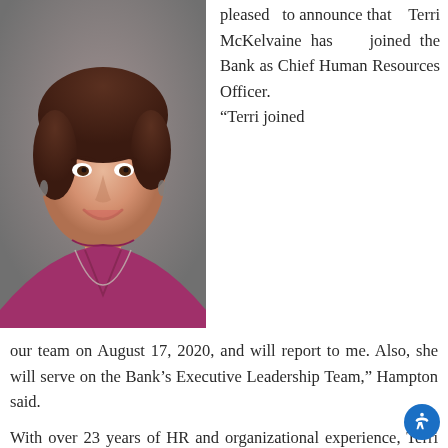[Figure (photo): Professional headshot of Terri McKelvaine, a woman with short dark hair wearing a magenta/purple top and silver necklace, smiling against a gray background.]
pleased to announce that Terri McKelvaine has joined the Bank as Chief Human Resources Officer.
“Terri joined our team on August 17, 2020, and will report to me. Also, she will serve on the Bank’s Executive Leadership Team,” Hampton said.
With over 23 years of HR and organizational experience, Terri most recently owned and managed